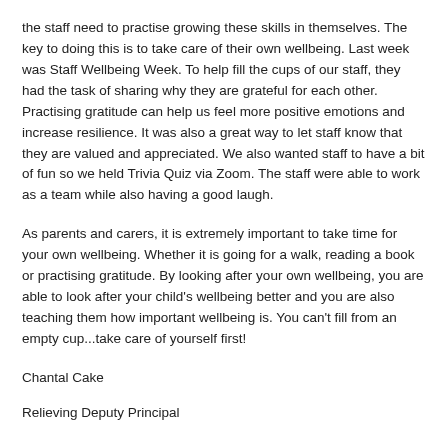the staff need to practise growing these skills in themselves. The key to doing this is to take care of their own wellbeing. Last week was Staff Wellbeing Week. To help fill the cups of our staff, they had the task of sharing why they are grateful for each other. Practising gratitude can help us feel more positive emotions and increase resilience. It was also a great way to let staff know that they are valued and appreciated. We also wanted staff to have a bit of fun so we held Trivia Quiz via Zoom. The staff were able to work as a team while also having a good laugh.
As parents and carers, it is extremely important to take time for your own wellbeing. Whether it is going for a walk, reading a book or practising gratitude. By looking after your own wellbeing, you are able to look after your child's wellbeing better and you are also teaching them how important wellbeing is. You can't fill from an empty cup...take care of yourself first!
Chantal Cake
Relieving Deputy Principal